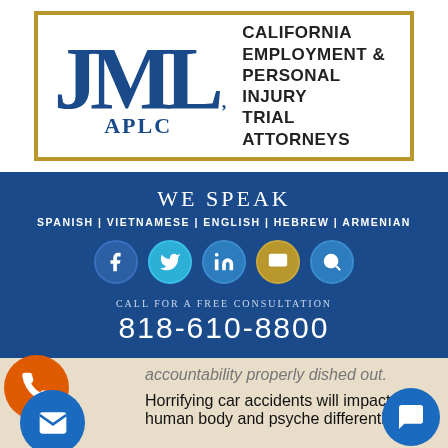[Figure (logo): JML APLC law firm logo with text 'California Employment & Personal Injury Trial Attorneys' inside a gold border box]
WE SPEAK
SPANISH | VIETNAMESE | ENGLISH | HEBREW | ARMENIAN
[Figure (illustration): Row of five social media icon circles: Facebook (blue), Twitter (teal), LinkedIn (blue), YouTube/media (gold), Search (blue)]
Call for a free consultation
818-610-8800
accountability properly dished out.
Horrifying car accidents will impact the human body and psyche differently from